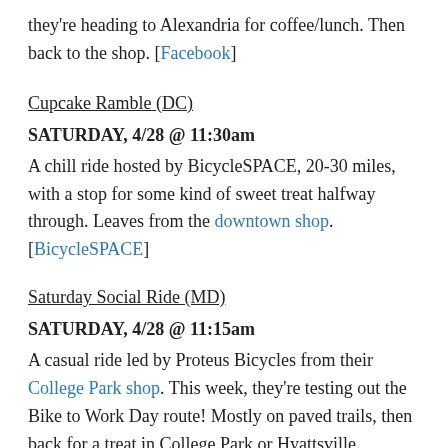they're heading to Alexandria for coffee/lunch. Then back to the shop. [Facebook]
Cupcake Ramble (DC)
SATURDAY, 4/28 @ 11:30am
A chill ride hosted by BicycleSPACE, 20-30 miles, with a stop for some kind of sweet treat halfway through. Leaves from the downtown shop. [BicycleSPACE]
Saturday Social Ride (MD)
SATURDAY, 4/28 @ 11:15am
A casual ride led by Proteus Bicycles from their College Park shop. This week, they're testing out the Bike to Work Day route! Mostly on paved trails, then back for a treat in College Park or Hyattsville. [Facebook]